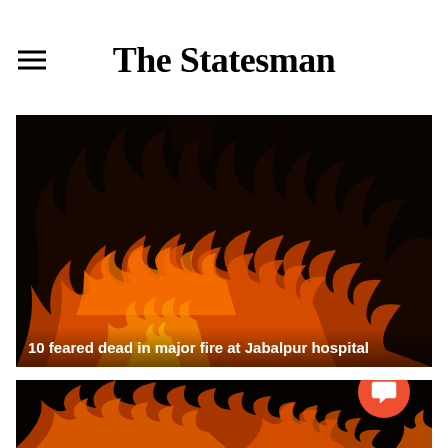The Statesman
[Figure (photo): Close-up photograph of fire/flames with orange and red colors against a dark black background. Caption reads: 10 feared dead in major fire at Jabalpur hospital]
10 feared dead in major fire at Jabalpur hospital
[Figure (photo): Second fire/flames photograph, similar orange flames against black background, partially visible at bottom of page]